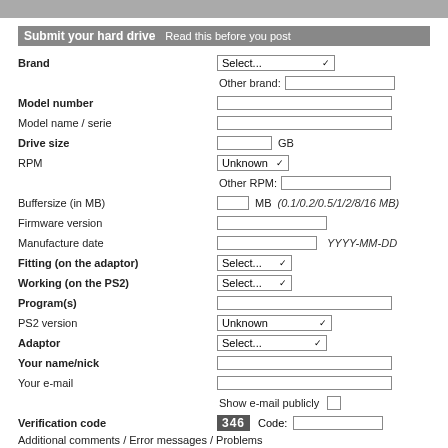Submit your hard drive   Read this before you post
Brand — Select... dropdown, Other brand: text input
Model number — text input
Model name / serie — text input
Drive size — text input, GB
RPM — Unknown dropdown, Other RPM: text input
Buffersize (in MB) — text input, MB (0.1/0.2/0.5/1/2/8/16 MB)
Firmware version — text input
Manufacture date — text input, YYYY-MM-DD
Fitting (on the adaptor) — Select... dropdown
Working (on the PS2) — Select... dropdown
Program(s) — text input
PS2 version — Unknown dropdown
Adaptor — Select... dropdown
Your name/nick — text input
Your e-mail — text input
Show e-mail publicly — checkbox
Verification code — 346, Code: text input
Additional comments / Error messages / Problems
* BOLD = Required